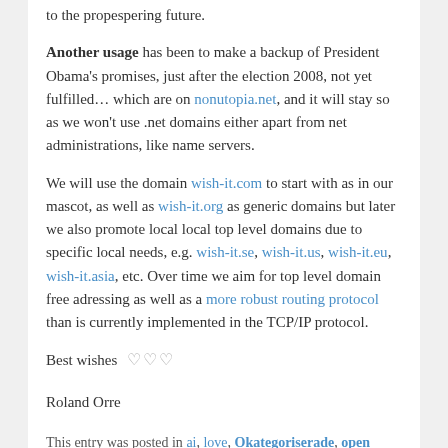to the propespering future.
Another usage has been to make a backup of President Obama's promises, just after the election 2008, not yet fulfilled… which are on nonutopia.net, and it will stay so as we won't use .net domains either apart from net administrations, like name servers.
We will use the domain wish-it.com to start with as in our mascot, as well as wish-it.org as generic domains but later we also promote local local top level domains due to specific local needs, e.g. wish-it.se, wish-it.us, wish-it.eu, wish-it.asia, etc. Over time we aim for top level domain free adressing as well as a more robust routing protocol than is currently implemented in the TCP/IP protocol.
Best wishes ♡♡♡
Roland Orre
This entry was posted in ai, love, Okategoriserade, open innovation by Orre Gustav, A.I. Roland. Bookmark the